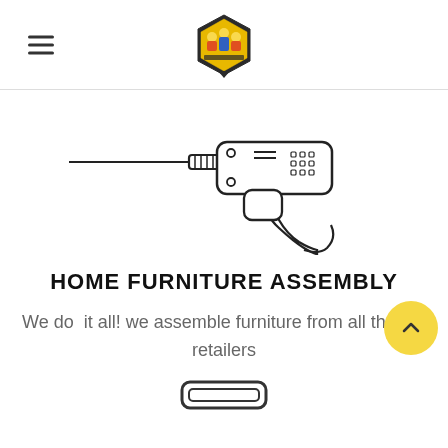Assembly Squad Construction (logo)
[Figure (illustration): Line drawing illustration of an electric power drill with a drill bit extending to the left and a cord hanging below]
HOME FURNITURE ASSEMBLY
We do  it all! we assemble furniture from all the top retailers
[Figure (other): Partially visible rounded rectangle icon at the bottom of the page]